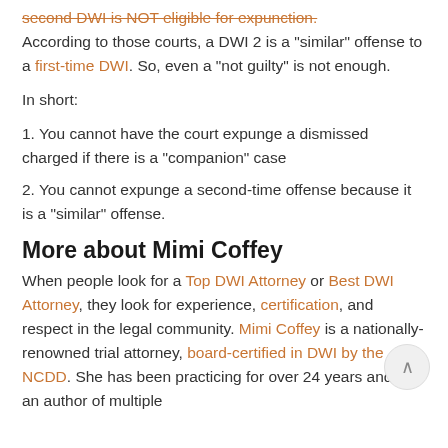second DWI is NOT eligible for expunction. According to those courts, a DWI 2 is a "similar" offense to a first-time DWI. So, even a "not guilty" is not enough.
In short:
1. You cannot have the court expunge a dismissed charged if there is a "companion" case
2. You cannot expunge a second-time offense because it is a "similar" offense.
More about Mimi Coffey
When people look for a Top DWI Attorney or Best DWI Attorney, they look for experience, certification, and respect in the legal community. Mimi Coffey is a nationally-renowned trial attorney, board-certified in DWI by the NCDD. She has been practicing for over 24 years and is an author of multiple